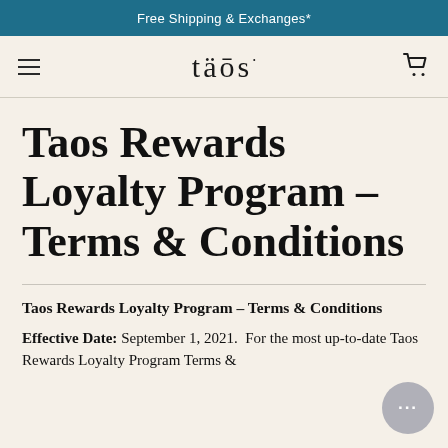Free Shipping & Exchanges*
[Figure (logo): Taos brand logo with hamburger menu icon on left and shopping cart icon on right]
Taos Rewards Loyalty Program – Terms & Conditions
Taos Rewards Loyalty Program – Terms & Conditions
Effective Date: September 1, 2021.  For the most up-to-date Taos Rewards Loyalty Program Terms &